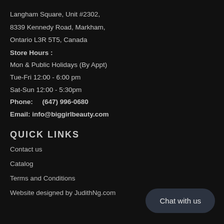Langham Square, Unit #2302,
8339 Kennedy Road, Markham,
Ontario L3R 5T5, Canada
Store Hours :
Mon & Public Holidays (By Appt)
Tue-Fri 12:00 - 6:00 pm
Sat-Sun 12:00 - 5:30pm
Phone:    (647) 996-0680
Email: info@biggirlbeauty.com
QUICK LINKS
Contact us
Catalog
Terms and Conditions
Website designed by JudithNg.com